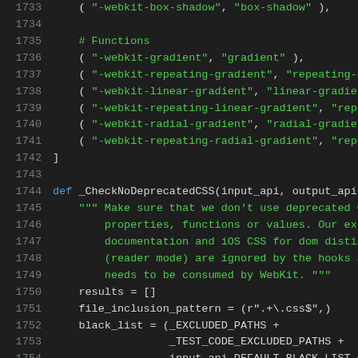Code listing lines 1733–1754 showing Python source code with CSS prefix mappings and _CheckNoDeprecatedCSS function definition